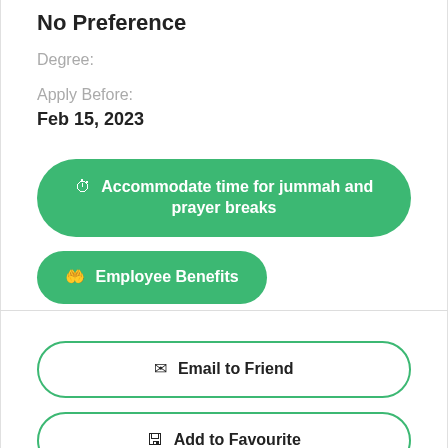No Preference
Degree:
Apply Before:
Feb 15, 2023
⏱ Accommodate time for jummah and prayer breaks
🤲 Employee Benefits
✉ Email to Friend
🖫 Add to Favourite
⚑ Report Ab...